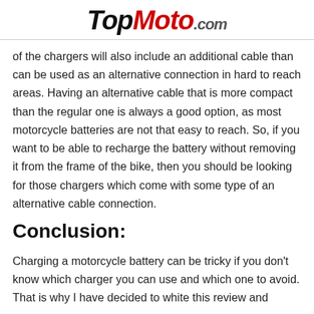TopMoto.com
of the chargers will also include an additional cable than can be used as an alternative connection in hard to reach areas. Having an alternative cable that is more compact than the regular one is always a good option, as most motorcycle batteries are not that easy to reach. So, if you want to be able to recharge the battery without removing it from the frame of the bike, then you should be looking for those chargers which come with some type of an alternative cable connection.
Conclusion:
Charging a motorcycle battery can be tricky if you don't know which charger you can use and which one to avoid. That is why I have decided to white this review and